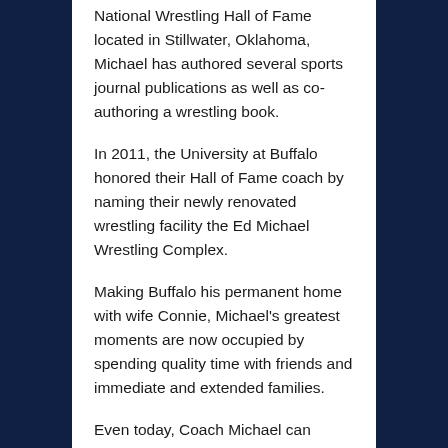National Wrestling Hall of Fame located in Stillwater, Oklahoma, Michael has authored several sports journal publications as well as co-authoring a wrestling book.
In 2011, the University at Buffalo honored their Hall of Fame coach by naming their newly renovated wrestling facility the Ed Michael Wrestling Complex.
Making Buffalo his permanent home with wife Connie, Michael's greatest moments are now occupied by spending quality time with friends and immediate and extended families.
Even today, Coach Michael can sometimes be spotted in the wrestling room that bears his name passing on his vast knowledge to the next